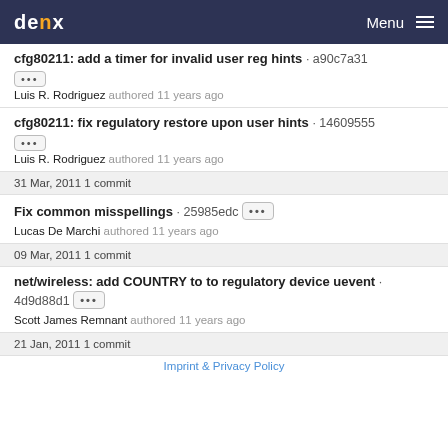denx Menu
cfg80211: add a timer for invalid user reg hints · a90c7a31
Luis R. Rodriguez authored 11 years ago
cfg80211: fix regulatory restore upon user hints · 14609555
Luis R. Rodriguez authored 11 years ago
31 Mar, 2011 1 commit
Fix common misspellings · 25985edc
Lucas De Marchi authored 11 years ago
09 Mar, 2011 1 commit
net/wireless: add COUNTRY to to regulatory device uevent · 4d9d88d1
Scott James Remnant authored 11 years ago
21 Jan, 2011 1 commit
Imprint & Privacy Policy